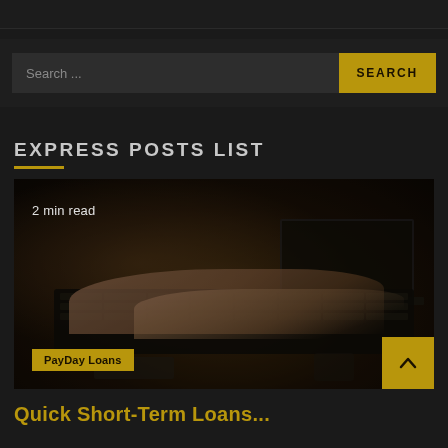Search ...
SEARCH
EXPRESS POSTS LIST
2 min read
[Figure (photo): Person typing on a laptop keyboard, dark moody background with papers and phone visible nearby]
PayDay Loans
Quick Short-Term Loans...